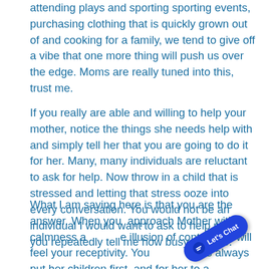attending plays and sporting sporting events, purchasing clothing that is quickly grown out of and cooking for a family, we tend to give off a vibe that one more thing will push us over the edge. Moms are really tuned into this, trust me.
If you really are able and willing to help your mother, notice the things she needs help with and simply tell her that you are going to do it for her. Many, many individuals are reluctant to ask for help. Now throw in a child that is stressed and letting that stress ooze into every conversation. You would not be an individual I would want to ask to help me if you repeatedly tell me how busy you are.
What I am saying here is that you are the answer. When you  approach Mother with calmness and the illusion of control she will feel your receptivity. Your mother has always put her children first, and for her to accept your help she needs to know and see that you have the